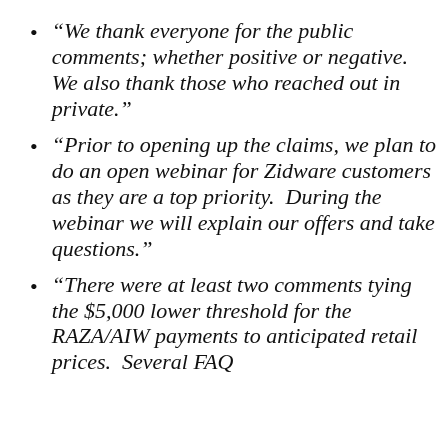“We thank everyone for the public comments; whether positive or negative.  We also thank those who reached out in private.”
“Prior to opening up the claims, we plan to do an open webinar for Zidware customers as they are a top priority.  During the webinar we will explain our offers and take questions.”
“There were at least two comments tying the $5,000 lower threshold for the RAZA/AIW payments to anticipated retail prices.  Several FAQ